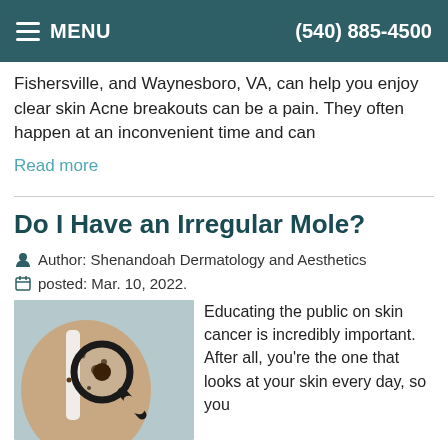MENU | (540) 885-4500
Fishersville, and Waynesboro, VA, can help you enjoy clear skin Acne breakouts can be a pain. They often happen at an inconvenient time and can
Read more
Do I Have an Irregular Mole?
Author: Shenandoah Dermatology and Aesthetics
posted: Mar. 10, 2022.
[Figure (photo): Person's back with moles being examined by a magnifying glass]
Educating the public on skin cancer is incredibly important. After all, you're the one that looks at your skin every day, so you